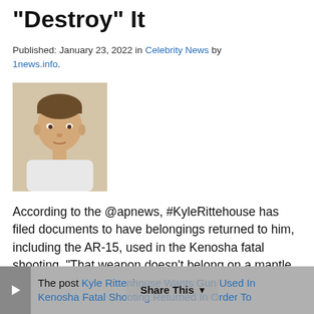"Destroy" It
Published: January 23, 2022 in Celebrity News by 1news.info.
[Figure (photo): Mugshot-style photo of a young white male with short hair, neutral expression, wearing a light-colored top]
According to the @apnews, #KyleRittehouse has filed documents to have belongings returned to him, including the AR-15, used in the Kenosha fatal shooting. “That weapon doesn’t belong on a mantle. It doesn’t belong in a museum,” a Rittenhouse family spokesman said. “It belongs where Kyle wants it, and Kyle wants it destroyed.” As you know, […]
The post Kyle Rittenhouse Wants Gun Used In Kenosha Fatal Shooting Returned In Order To